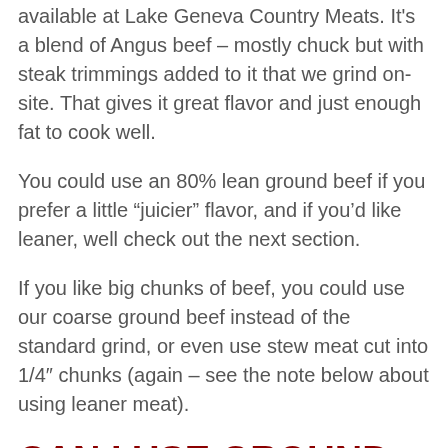available at Lake Geneva Country Meats. It's a blend of Angus beef – mostly chuck but with steak trimmings added to it that we grind on-site. That gives it great flavor and just enough fat to cook well.
You could use an 80% lean ground beef if you prefer a little “juicier” flavor, and if you’d like leaner, well check out the next section.
If you like big chunks of beef, you could use our coarse ground beef instead of the standard grind, or even use stew meat cut into 1/4″ chunks (again – see the note below about using leaner meat).
CAN I USE GROUND TURKEY INSTEAD OF